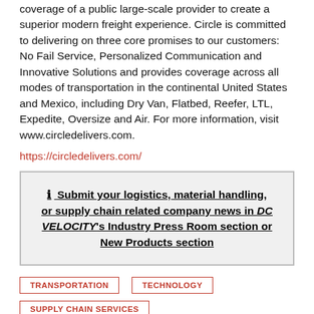coverage of a public large-scale provider to create a superior modern freight experience. Circle is committed to delivering on three core promises to our customers: No Fail Service, Personalized Communication and Innovative Solutions and provides coverage across all modes of transportation in the continental United States and Mexico, including Dry Van, Flatbed, Reefer, LTL, Expedite, Oversize and Air. For more information, visit www.circledelivers.com.
https://circledelivers.com/
Submit your logistics, material handling, or supply chain related company news in DC VELOCITY's Industry Press Room section or New Products section
TRANSPORTATION
TECHNOLOGY
SUPPLY CHAIN SERVICES